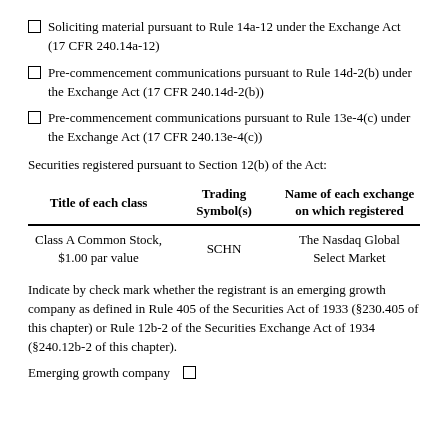Soliciting material pursuant to Rule 14a-12 under the Exchange Act (17 CFR 240.14a-12)
Pre-commencement communications pursuant to Rule 14d-2(b) under the Exchange Act (17 CFR 240.14d-2(b))
Pre-commencement communications pursuant to Rule 13e-4(c) under the Exchange Act (17 CFR 240.13e-4(c))
Securities registered pursuant to Section 12(b) of the Act:
| Title of each class | Trading Symbol(s) | Name of each exchange on which registered |
| --- | --- | --- |
| Class A Common Stock, $1.00 par value | SCHN | The Nasdaq Global Select Market |
Indicate by check mark whether the registrant is an emerging growth company as defined in Rule 405 of the Securities Act of 1933 (§230.405 of this chapter) or Rule 12b-2 of the Securities Exchange Act of 1934 (§240.12b-2 of this chapter).
Emerging growth company  □